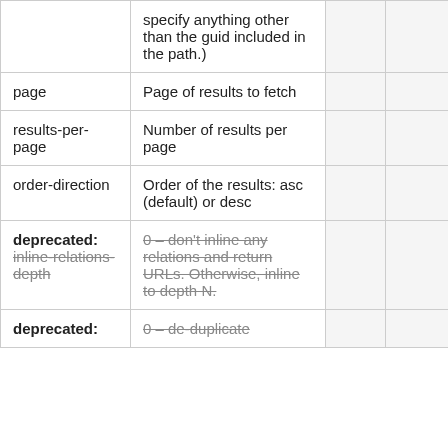|  | specify anything other than the guid included in the path.) |  |  |
| page | Page of results to fetch |  |  |
| results-per-page | Number of results per page |  |  |
| order-direction | Order of the results: asc (default) or desc |  |  |
| deprecated: inline-relations-depth | 0 – don't inline any relations and return URLs. Otherwise, inline to depth N. |  |  |
| deprecated: | 0 – de-duplicate |  |  |